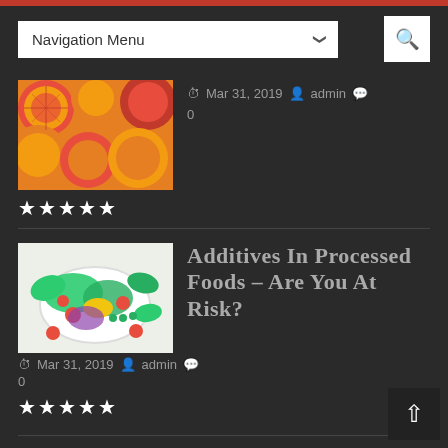Navigation Menu
[Figure (photo): Image of citrus fruits including oranges and grapefruit]
Mar 31, 2019  admin  0
★★★★★
[Figure (photo): Image of a salad bowl with vegetables including spinach, corn, tomatoes]
Additives In Processed Foods – Are You At Risk?
Mar 31, 2019  admin  0
★★★★★
RECENT POSTS
Is Cannabis CBD Legal?
How to Properly Germinate and Buy Cannabis Seeds Online